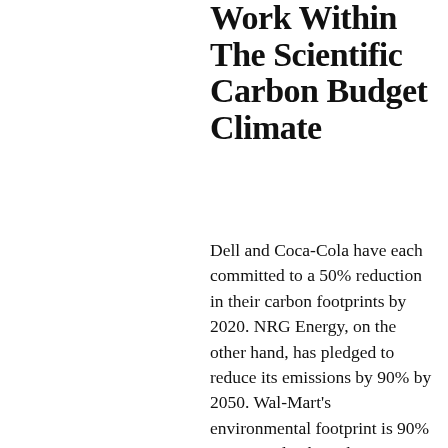Work Within The Scientific Carbon Budget Climate
Dell and Coca-Cola have each committed to a 50% reduction in their carbon footprints by 2020. NRG Energy, on the other hand, has pledged to reduce its emissions by 90% by 2050. Wal-Mart's environmental footprint is 90% in its supply chain, however. Wal-Mart has set a goal to partner with suppliers to reduce their carbon emissions by 1 billion tons between 2015- 2030. This represents a more than 4000 percent increase on their previous target of 22,000,000 tons